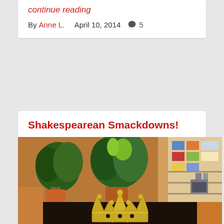continue reading
By Anne L.   April 10, 2014  💬 5
Shakespearean Smackdowns!
[Figure (photo): Person wearing a gold paper crown in a classroom or office setting, with potted plants visible in the background and bookshelves on the right side.]